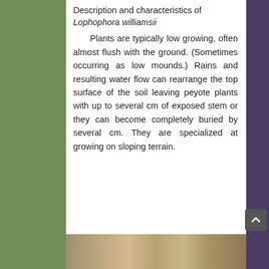Description and characteristics of Lophophora williamsii
Plants are typically low growing, often almost flush with the ground. (Sometimes occurring as low mounds.) Rains and resulting water flow can rearrange the top surface of the soil leaving peyote plants with up to several cm of exposed stem or they can become completely buried by several cm. They are specialized at growing on sloping terrain.
[Figure (photo): Photograph of a peyote plant (Lophophora williamsii) growing in rocky/gravelly soil, partially visible at the bottom of the page]